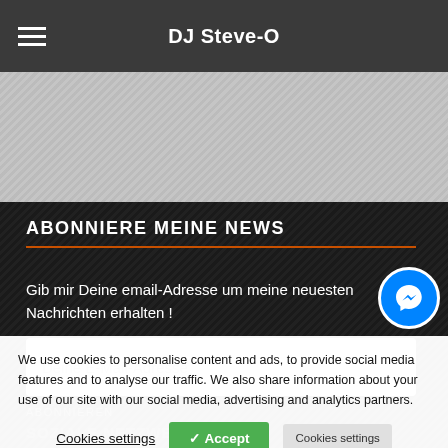DJ Steve-O
[Figure (screenshot): Gray banner/hero image area with diagonal texture]
ABONNIERE MEINE NEWS
Gib mir Deine email-Adresse um meine neuesten Nachrichten erhalten !
Deine E-Mail-Adresse
ABONNIEREN
We use cookies to personalise content and ads, to provide social media features and to analyse our traffic. We also share information about your use of our site with our social media, advertising and analytics partners.
Cookies settings   ✓ Accept   Cookies settings
SOZIALE NETZWERKE